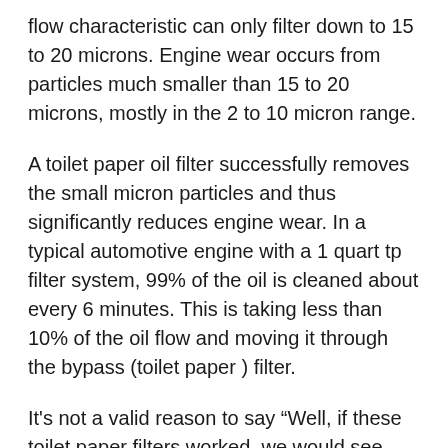flow characteristic can only filter down to 15 to 20 microns. Engine wear occurs from particles much smaller than 15 to 20 microns, mostly in the 2 to 10 micron range.
A toilet paper oil filter successfully removes the small micron particles and thus significantly reduces engine wear. In a typical automotive engine with a 1 quart tp filter system, 99% of the oil is cleaned about every 6 minutes. This is taking less than 10% of the oil flow and moving it through the bypass (toilet paper ) filter.
It's not a valid reason to say “Well, if these toilet paper filters worked, we would see them installed on every car during manufacturing.”
Car manufacturers are generally in the business of